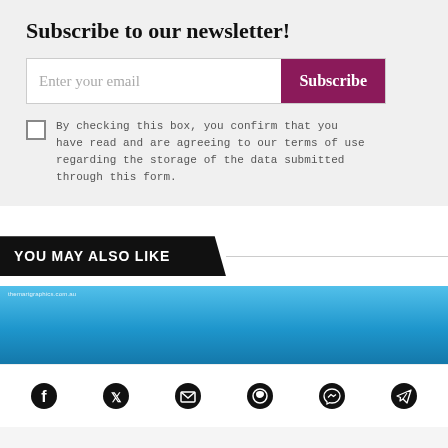Subscribe to our newsletter!
Enter your email  Subscribe
By checking this box, you confirm that you have read and are agreeing to our terms of use regarding the storage of the data submitted through this form.
YOU MAY ALSO LIKE
[Figure (photo): Blue sky image with small overlay text label in top-left corner]
[Figure (infographic): Social media share icons row: Facebook, Twitter, Email, WhatsApp, Messenger, Telegram]